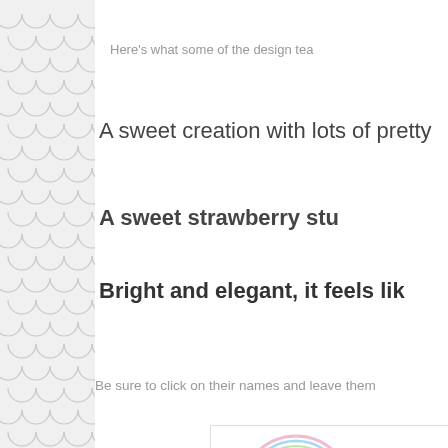[Figure (illustration): Scallop/fish-scale decorative pattern in light gray on left side of page]
Here's what some of the design tea
A sweet creation with lots of pretty
A sweet strawberry stu
Bright and elegant, it feels lik
Be sure to click on their names and leave them
[Figure (logo): Just Ado... logo with green circle and colorful ring border. Text reads 'Thank you for p' and 'Just Ado']